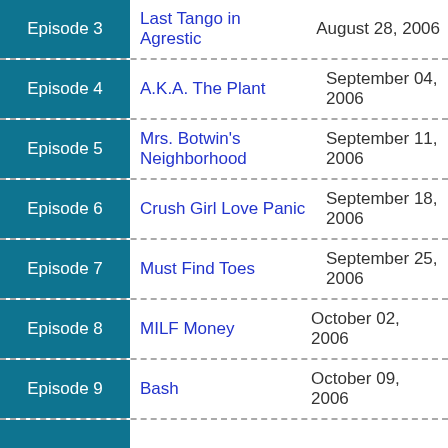| Episode | Title | Date |
| --- | --- | --- |
| Episode 3 | Last Tango in Agrestic | August 28, 2006 |
| Episode 4 | A.K.A. The Plant | September 04, 2006 |
| Episode 5 | Mrs. Botwin's Neighborhood | September 11, 2006 |
| Episode 6 | Crush Girl Love Panic | September 18, 2006 |
| Episode 7 | Must Find Toes | September 25, 2006 |
| Episode 8 | MILF Money | October 02, 2006 |
| Episode 9 | Bash | October 09, 2006 |